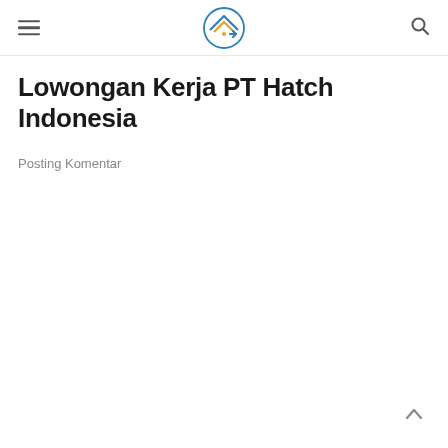Lowongan Kerja Indonesia (logo + hamburger menu + search icon)
Lowongan Kerja PT Hatch Indonesia
Posting Komentar